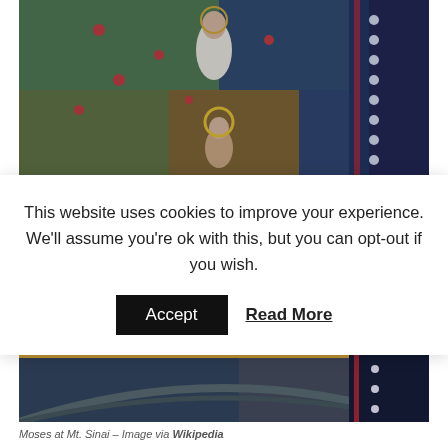[Figure (photo): Mosaic image of Moses at Mt. Sinai — upper portion showing figures with halos, colorful Byzantine mosaic art with blue, green, and gold tones]
This website uses cookies to improve your experience. We'll assume you're ok with this, but you can opt-out if you wish.
[Figure (photo): Mosaic image of Moses at Mt. Sinai — lower portion showing decorative arch elements with dark blue and green tones]
Moses at Mt. Sinai – Image via Wikipedia
T hen the whole community of Israel set out from Elim and